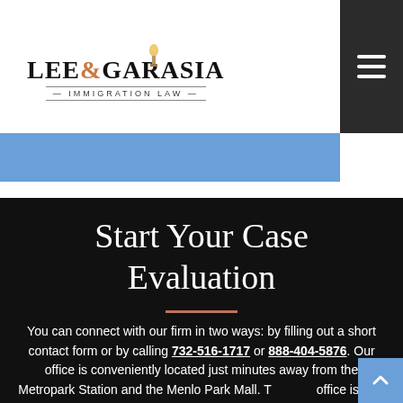[Figure (logo): Lee & Garasia Immigration Law firm logo with torch icon]
Start Your Case Evaluation
You can connect with our firm in two ways: by filling out a short contact form or by calling 732-516-1717 or 888-404-5876. Our office is conveniently located just minutes away from the Metropark Station and the Menlo Park Mall. The office is fully staffed and open Monday through